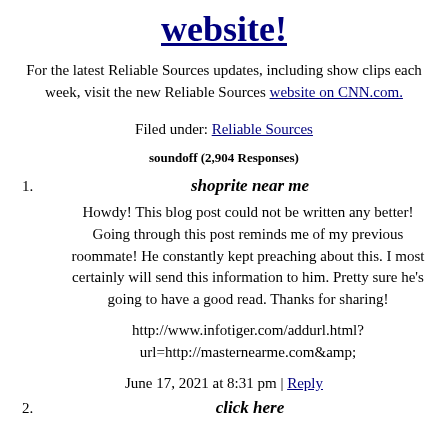website!
For the latest Reliable Sources updates, including show clips each week, visit the new Reliable Sources website on CNN.com.
Filed under: Reliable Sources
soundoff (2,904 Responses)
1. shoprite near me
Howdy! This blog post could not be written any better! Going through this post reminds me of my previous roommate! He constantly kept preaching about this. I most certainly will send this information to him. Pretty sure he's going to have a good read. Thanks for sharing!
http://www.infotiger.com/addurl.html?url=http://masternearme.com&amp;
June 17, 2021 at 8:31 pm | Reply
2. click here